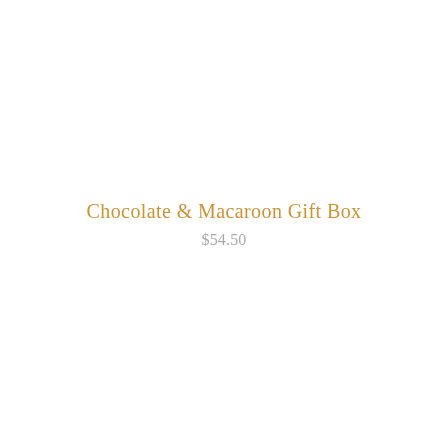Chocolate & Macaroon Gift Box
$54.50